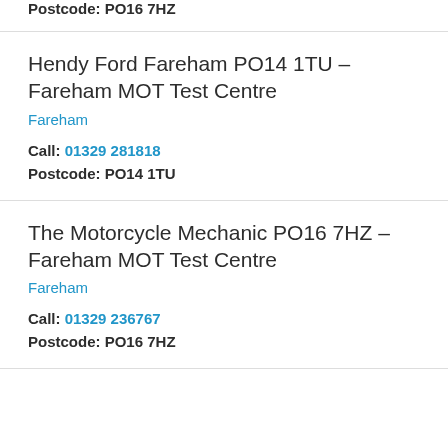Postcode: PO16 7HZ
Hendy Ford Fareham PO14 1TU – Fareham MOT Test Centre
Fareham
Call: 01329 281818
Postcode: PO14 1TU
The Motorcycle Mechanic PO16 7HZ – Fareham MOT Test Centre
Fareham
Call: 01329 236767
Postcode: PO16 7HZ